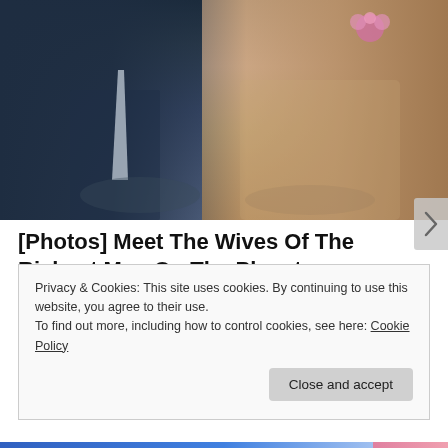[Figure (photo): A couple sitting side by side. The man on the left wears a dark navy suit with a light tie. The woman on the right wears a lace/crochet beige outfit with a pink flower accessory in her hair.]
[Photos] Meet The Wives Of The Richest Men On The Planet
Bon Voyaged
Privacy & Cookies: This site uses cookies. By continuing to use this website, you agree to their use.
To find out more, including how to control cookies, see here: Cookie Policy
Close and accept